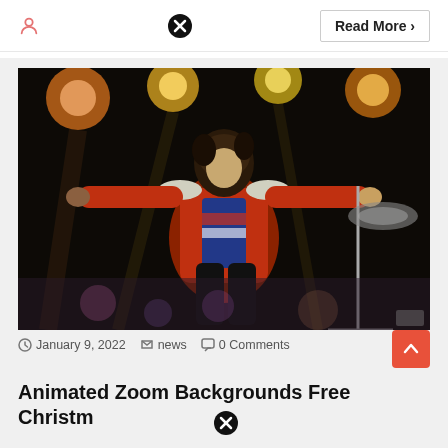Read More >
[Figure (photo): A performer in a red sequined jacket with silver epaulettes and a patterned shirt, arms outstretched on a concert stage with colorful stage lights in the background]
January 9, 2022  news  0 Comments
Animated Zoom Backgrounds Free Christmas